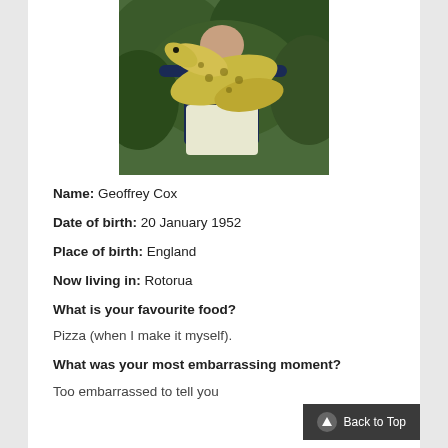[Figure (photo): A person holding a large snake or crocodile outdoors with green foliage in the background. The person appears to be wearing a dark top and white shorts.]
Name: Geoffrey Cox
Date of birth: 20 January 1952
Place of birth: England
Now living in: Rotorua
What is your favourite food?
Pizza (when I make it myself).
What was your most embarrassing moment?
Too embarrassed to tell you